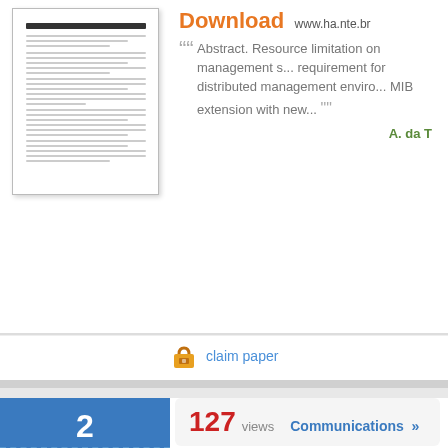[Figure (screenshot): Thumbnail of a research paper document]
Download www.ha.nte.br
Abstract. Resource limitation on management s... requirement for distributed management enviro... MIB extension with new...
A. da T
claim paper
127 views   Communications »
An Interference Avoidance Tec... Networks Employing Array An...
[Figure (photo): Chalkboard showing 1+1=2]
Download www.comlab.uni-kassel.de
Array antennas have the potential to increase th...